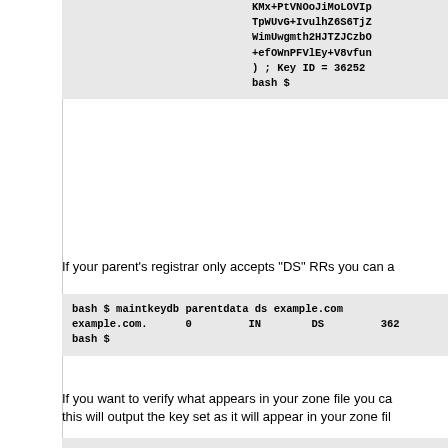bash $ maintkeydb parentdata ds example.com
example.com.     0      IN      DS     362
bash $
If your parent's registrar only accepts "DS" RRs you can a
bash $ maintkeydb parentdata ds example.com
example.com.     0      IN      DS     362
bash $
If you want to verify what appears in your zone file you ca
this will output the key set as it will appear in your zone fil
bash $ maintkeydb showkeys example.com

;;;;; DNSKEY RRs for example.com ;;;;;;;;
example.com.     0      IN      DNSKEY 256
                                AQOz8oz5sm5CCu4gCZB
                                rPYqNq8e3MZ5AaE3NAP
                                qdnR0MjbilD1lXVAACd